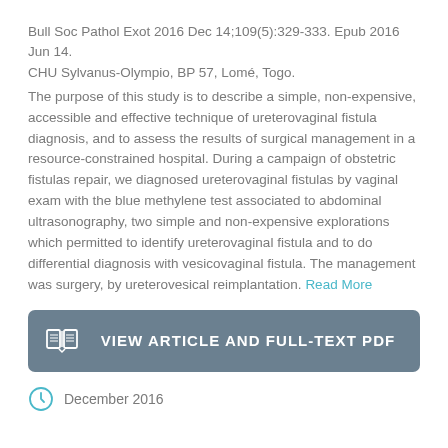Bull Soc Pathol Exot 2016 Dec 14;109(5):329-333. Epub 2016 Jun 14.
CHU Sylvanus-Olympio, BP 57, Lomé, Togo.
The purpose of this study is to describe a simple, non-expensive, accessible and effective technique of ureterovaginal fistula diagnosis, and to assess the results of surgical management in a resource-constrained hospital. During a campaign of obstetric fistulas repair, we diagnosed ureterovaginal fistulas by vaginal exam with the blue methylene test associated to abdominal ultrasonography, two simple and non-expensive explorations which permitted to identify ureterovaginal fistula and to do differential diagnosis with vesicovaginal fistula. The management was surgery, by ureterovesical reimplantation. Read More
VIEW ARTICLE AND FULL-TEXT PDF
December 2016